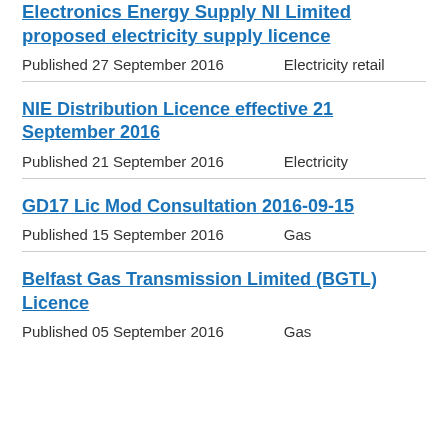Electronics Energy Supply NI Limited proposed electricity supply licence
Published 27 September 2016    Electricity retail
NIE Distribution Licence effective 21 September 2016
Published 21 September 2016    Electricity
GD17 Lic Mod Consultation 2016-09-15
Published 15 September 2016    Gas
Belfast Gas Transmission Limited (BGTL) Licence
Published 05 September 2016    Gas